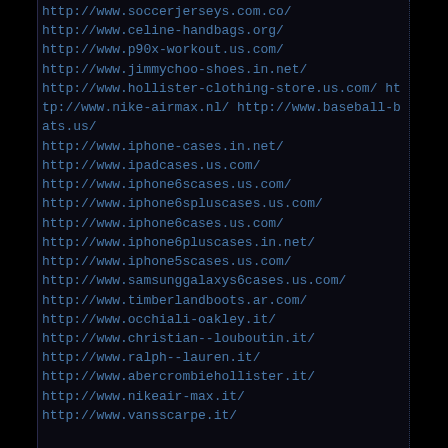http://www.soccerjerseys.com.co/
http://www.celine-handbags.org/
http://www.p90x-workout.us.com/
http://www.jimmychoo-shoes.in.net/
http://www.hollister-clothing-store.us.com/ http://www.nike-airmax.nl/ http://www.baseball-bats.us/
http://www.iphone-cases.in.net/
http://www.ipadcases.us.com/
http://www.iphone6scases.us.com/
http://www.iphone6spluscases.us.com/
http://www.iphone6cases.us.com/
http://www.iphone6pluscases.in.net/
http://www.iphone5scases.us.com/
http://www.samsunggalaxys6cases.us.com/
http://www.timberlandboots.ar.com/
http://www.occhiali-oakley.it/
http://www.christian--louboutin.it/
http://www.ralph--lauren.it/
http://www.abercrombiehollister.it/
http://www.nikeair-max.it/
http://www.vansscarpe.it/